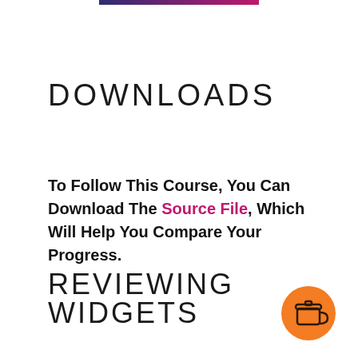[Figure (other): Horizontal gradient bar (dark blue to pink/magenta) at top center of page]
DOWNLOADS
To Follow This Course, You Can Download The Source File, Which Will Help You Compare Your Progress.
REVIEWING WIDGETS
[Figure (illustration): Orange circular button with a coffee cup icon, positioned bottom right]